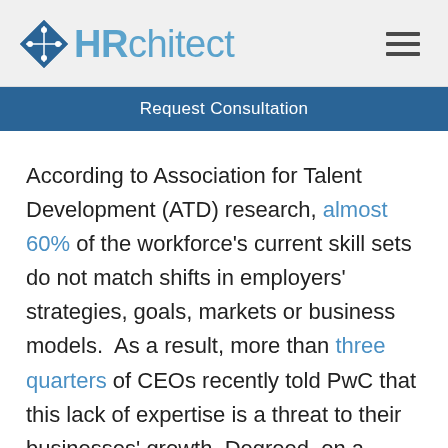HRchitect
Request Consultation
According to Association for Talent Development (ATD) research, almost 60% of the workforce's current skill sets do not match shifts in employers' strategies, goals, markets or business models.  As a result, more than three quarters of CEOs recently told PwC that this lack of expertise is a threat to their businesses' growth. Degreed, on a mission to make all learning matter, is announcing three significant